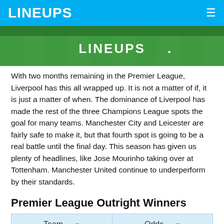LINEUPS
[Figure (photo): Football pitch aerial view with LINEUPS text overlay on green grass]
With two months remaining in the Premier League, Liverpool has this all wrapped up. It is not a matter of if, it is just a matter of when. The dominance of Liverpool has made the rest of the three Champions League spots the goal for many teams. Manchester City and Leicester are fairly safe to make it, but that fourth spot is going to be a real battle until the final day. This season has given us plenty of headlines, like Jose Mourinho taking over at Tottenham. Manchester United continue to underperform by their standards.
Premier League Outright Winners
| Team | Odds |
| --- | --- |
| Liverpool | -100000 |